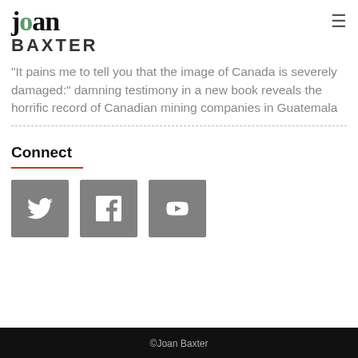joan BAXTER
"It pains me to tell you that the image of Canada is severely damaged:" damning testimony in a new book reveals the horrific record of Canadian mining companies in Guatemala
Connect
[Figure (other): Three social media icon buttons: Twitter (bird icon), Facebook (f icon), YouTube (play button icon), all on grey square backgrounds]
©Joan Baxter